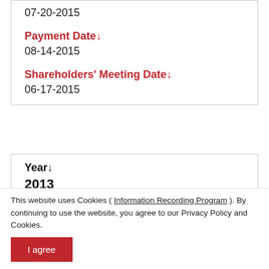07-20-2015
Payment Date↓
08-14-2015
Shareholders' Meeting Date↓
06-17-2015
Year↓
2013
Cash Dividend(NTD / Per Share)
This website uses Cookies ( Information Recording Program ). By continuing to use the website, you agree to our Privacy Policy and Cookies.
Operating Revenue
I agree
Cash Dividend Forecast Period If ...